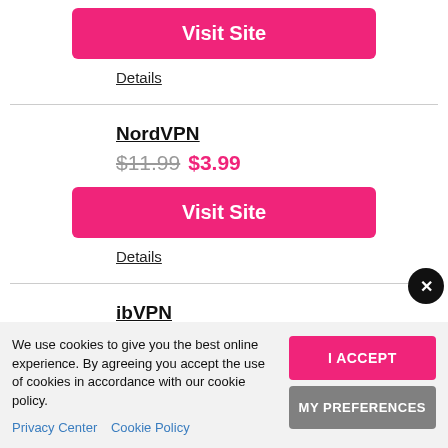Visit Site
Details
NordVPN
$11.99  $3.99
Visit Site
Details
ibVPN
We use cookies to give you the best online experience. By agreeing you accept the use of cookies in accordance with our cookie policy.
Privacy Center   Cookie Policy
I ACCEPT
MY PREFERENCES